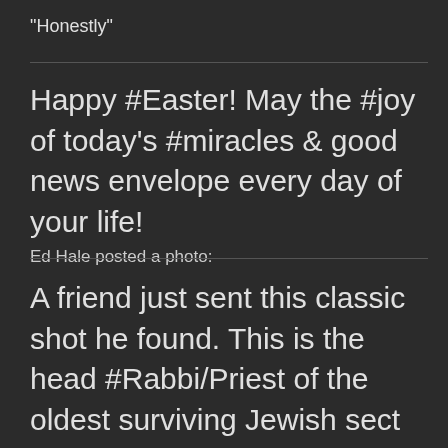"Honestly"
Happy #Easter! May the #joy of today's #miracles & good news envelope every day of your life!
Ed Hale posted a photo:
A friend just sent this classic shot he found. This is the head #Rabbi/Priest of the oldest surviving Jewish sect in the world, the original #Samaritans from the bible. They also claim to